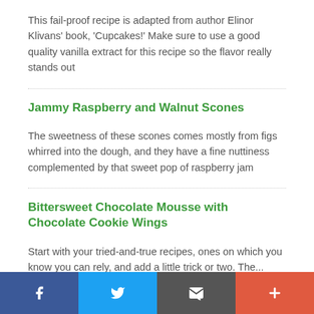This fail-proof recipe is adapted from author Elinor Klivans' book, 'Cupcakes!' Make sure to use a good quality vanilla extract for this recipe so the flavor really stands out
Jammy Raspberry and Walnut Scones
The sweetness of these scones comes mostly from figs whirred into the dough, and they have a fine nuttiness complemented by that sweet pop of raspberry jam
Bittersweet Chocolate Mousse with Chocolate Cookie Wings
Start with your tried-and-true recipes, ones on which you know you can rely, and add a little trick or two. The...
Social share bar: Facebook, Twitter, Email, Plus